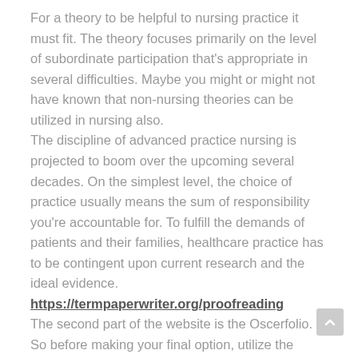For a theory to be helpful to nursing practice it must fit. The theory focuses primarily on the level of subordinate participation that's appropriate in several difficulties. Maybe you might or might not have known that non-nursing theories can be utilized in nursing also.
The discipline of advanced practice nursing is projected to boom over the upcoming several decades. On the simplest level, the choice of practice usually means the sum of responsibility you're accountable for. To fulfill the demands of patients and their families, healthcare practice has to be contingent upon current research and the ideal evidence.
https://termpaperwriter.org/proofreading
The second part of the website is the Oscerfolio. So before making your final option, utilize the upcoming questions to rate the way that your pick measures up to the area. So it is essential to reduce the amount of schools to pick from to guarantee that you're likely to get workable list.
There are a lot of profiles in the nursing world and just a